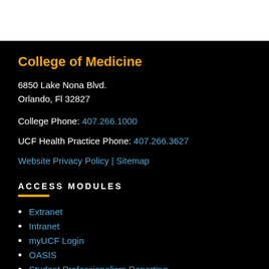College of Medicine
6850 Lake Nona Blvd.
Orlando, Fl 32827
College Phone: 407.266.1000
UCF Health Practice Phone: 407.266.3627
Website Privacy Policy | Sitemap
ACCESS MODULES
Extranet
Intranet
myUCF Login
OASIS
Student Professionalism Reporting